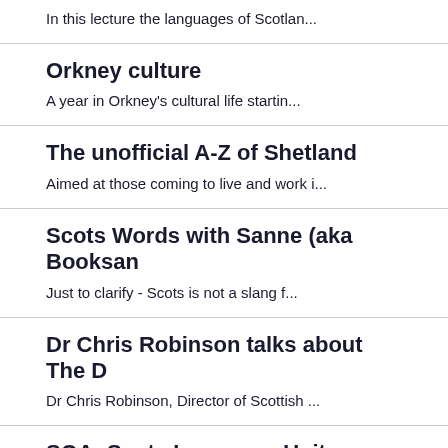In this lecture the languages of Scotlan...
Orkney culture
A year in Orkney's cultural life startin...
The unofficial A-Z of Shetland
Aimed at those coming to live and work i...
Scots Words with Sanne (aka Booksan
Just to clarify - Scots is not a slang f...
Dr Chris Robinson talks about The D
Dr Chris Robinson, Director of Scottish ...
SQA: Scots Language Units
A paper given at the 2014 ASLS Schools C...